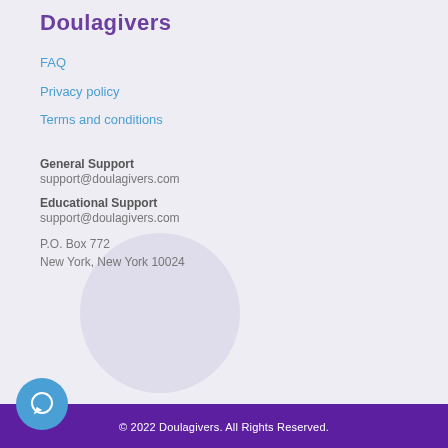Doulagivers
FAQ
Privacy policy
Terms and conditions
General Support
support@doulagivers.com
Educational Support
support@doulagivers.com
P.O. Box 772
New York, New York 10024
© 2022 Doulagivers. All Rights Reserved.